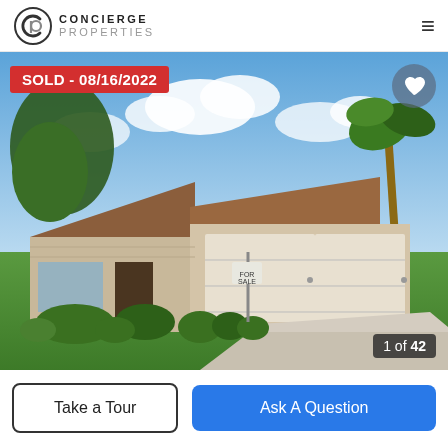Concierge Properties
[Figure (photo): Exterior photo of a single-story residential home with a large two-car plus garage, beige/tan siding, manicured hedges, palm trees, and green lawn. A 'SOLD - 08/16/2022' badge is overlaid in red on the top-left. A heart/favorites button is on the top-right. Photo counter '1 of 42' is shown at bottom-right.]
1 of 42
Take a Tour
Ask A Question